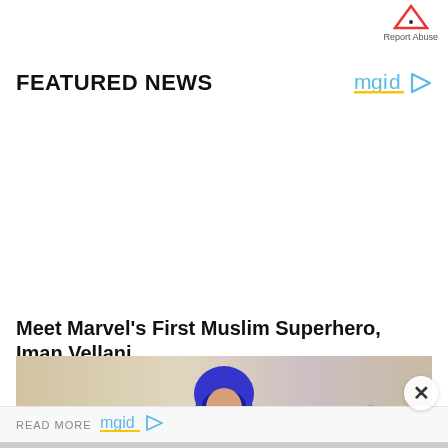[Figure (logo): Report Abuse button with triangle warning icon and text]
FEATURED NEWS
[Figure (logo): mgid logo with play button icon]
Meet Marvel's First Muslim Superhero, Iman Vellani
[Figure (photo): Photo of Iman Vellani with blue hair at an event with floral decorations]
READ MORE
[Figure (logo): mgid logo with play button in read more bar]
[Figure (other): Close/X button]